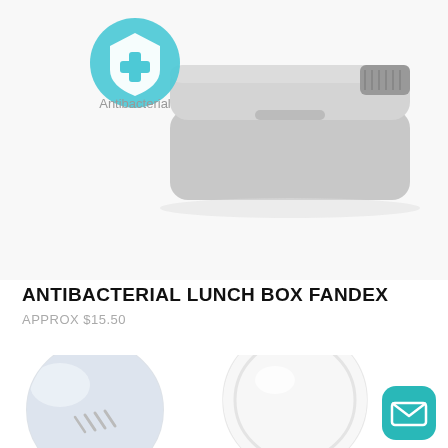[Figure (photo): Gray antibacterial lunch box Fandex product photo with teal antibacterial shield icon overlay and label 'Antibacterial']
ANTIBACTERIAL LUNCH BOX FANDEX
APPROX $15.50
[Figure (photo): Two close-up circular detail photos of the lunch box: left showing textured surface detail, right showing a round white lid/compartment]
[Figure (illustration): Teal rounded square mail/envelope button icon in bottom right corner]